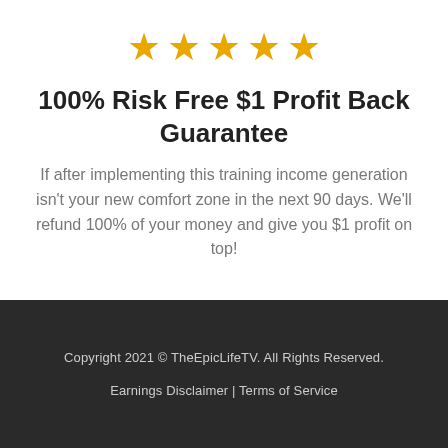[Figure (illustration): Five gold star rating icons in a row]
100% Risk Free $1 Profit Back Guarantee
If after implementing this training income generation isn't your new comfort zone in the next 90 days. We'll refund 100% of your money and give you $1 profit on top!
Copyright 2021 © TheEpicLifeTV. All Rights Reserved.
Earnings Disclaimer | Terms of Service